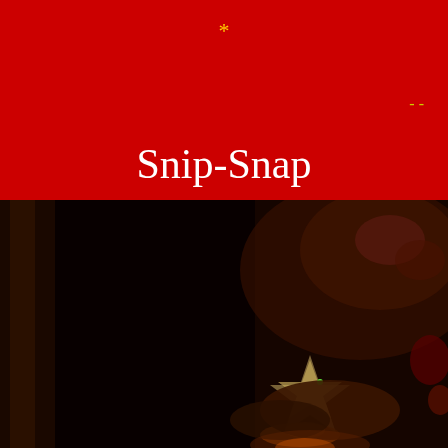*
--
Snip-Snap
...
.
[Figure (photo): Dark photograph showing Christmas/holiday decorations including a star-shaped ornament in low-light conditions, dark browns and reds dominating the image]